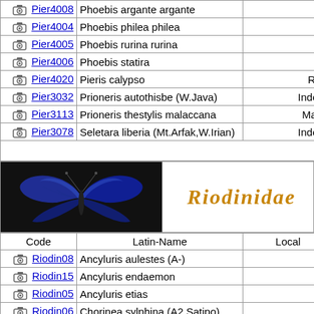| Code | Latin-Name | Local |
| --- | --- | --- |
| Pier4008 | Phoebis argante argante | Per |
| Pier4004 | Phoebis philea philea | Per |
| Pier4005 | Phoebis rurina rurina | Per |
| Pier4006 | Phoebis statira | Per |
| Pier4020 | Pieris calypso | RCA |
| Pier3032 | Prioneris autothisbe (W.Java) | Indone |
| Pier3113 | Prioneris thestylis malaccana | Malay |
| Pier3078 | Seletara liberia (Mt.Arfak,W.Irian) | Indone |
[Figure (photo): Blue butterfly photo banner for Riodinidae family]
| Code | Latin-Name | Local |
| --- | --- | --- |
| Riodin08 | Ancyluris aulestes (A-) | Per |
| Riodin15 | Ancyluris endaemon | Per |
| Riodin05 | Ancyluris etias | Per |
| Riodin06 | Chorinea sylphina (A2,Satipo) | Per |
| Riodin07 | Lyropteryx apollonia | Per |